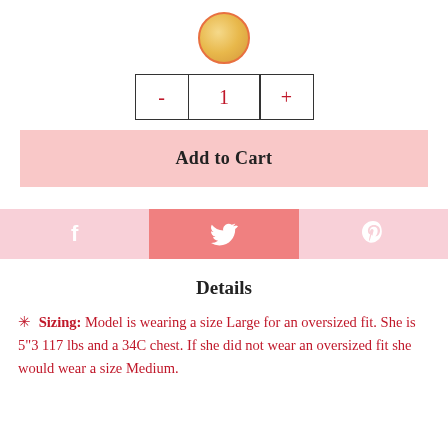[Figure (illustration): A circular color swatch with a golden/yellow textured appearance, bordered by an orange-red circle outline.]
[Figure (other): A quantity selector UI element showing a minus button, the number 1, and a plus button, all in dark red/maroon color inside a bordered box.]
[Figure (other): A pink 'Add to Cart' button.]
[Figure (other): A social sharing bar with three sections: Facebook (light pink), Twitter (darker pink/salmon), and Pinterest (light pink), each with white icons.]
Details
✳ Sizing:  Model is wearing a size Large for an oversized fit. She is 5"3 117 lbs and a 34C chest. If she did not wear an oversized fit she would wear a size Medium.